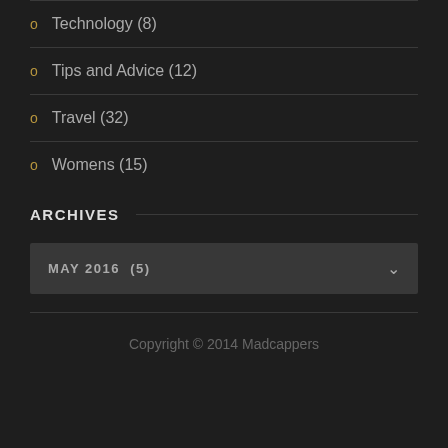Technology (8)
Tips and Advice (12)
Travel (32)
Womens (15)
ARCHIVES
MAY 2016  (5)
Copyright © 2014 Madcappers